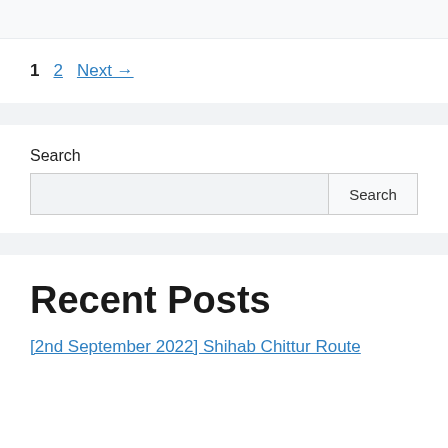1  2  Next →
Search
Recent Posts
[2nd September 2022] Shihab Chittur Route